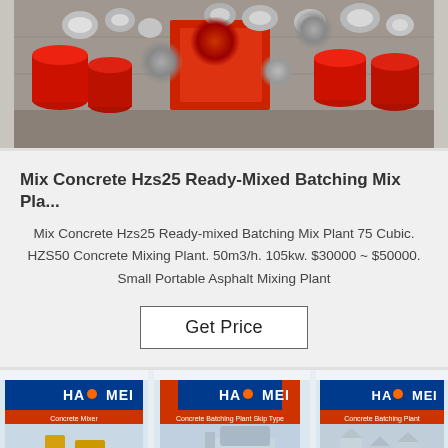[Figure (photo): Open shipping container or truck bed filled with red pipes and metallic pipe fittings/clamps]
Mix Concrete Hzs25 Ready-Mixed Batching Mix Pla...
Mix Concrete Hzs25 Ready-mixed Batching Mix Plant 75 Cubic. HZS50 Concrete Mixing Plant. 50m3/h. 105kw. $30000 ~ $50000. Small Portable Asphalt Mixing Plant
Get Price
[Figure (photo): Exhibition booth with multiple HAOMEI branded banners showing concrete mixers, concrete batching plant skip type, and concrete batching plant products]